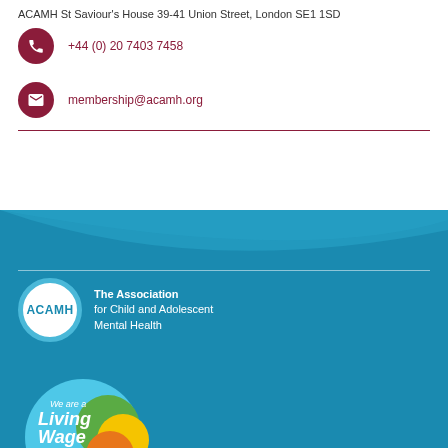ACAMH St Saviour's House 39-41 Union Street, London SE1 1SD
+44 (0) 20 7403 7458
membership@acamh.org
[Figure (logo): ACAMH logo - The Association for Child and Adolescent Mental Health, white circle on teal background with ACAMH text]
[Figure (logo): Living Wage Employer badge - light blue circle with colourful overlapping circles (green, yellow, orange) and 'We are a Living Wage Employer' text]
[Figure (logo): Cyber Essentials badge - dark navy rounded rectangle with CYBER ESSENTIALS text]